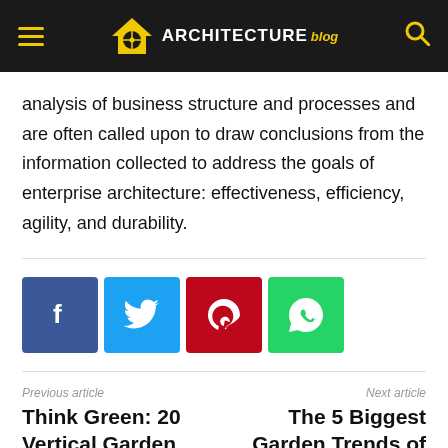ARCHITECTURE blog
analysis of business structure and processes and are often called upon to draw conclusions from the information collected to address the goals of enterprise architecture: effectiveness, efficiency, agility, and durability.
[Figure (other): Social sharing buttons: Facebook (blue), Twitter (cyan), Pinterest (red), WhatsApp (green)]
Previous article
Think Green: 20 Vertical Garden Ideas
Next article
The 5 Biggest Garden Trends of 2017